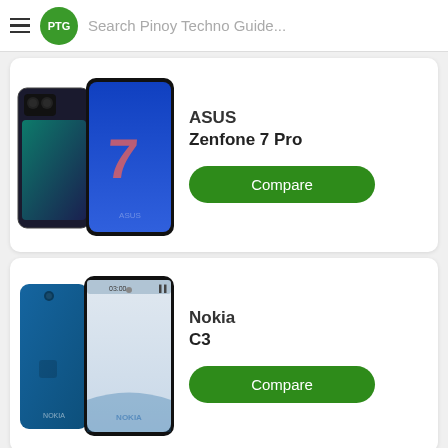Search Pinoy Techno Guide...
[Figure (screenshot): ASUS Zenfone 7 Pro smartphone product image showing front and back views]
ASUS Zenfone 7 Pro
[Figure (screenshot): Nokia C3 smartphone product image showing front and back views]
Nokia C3